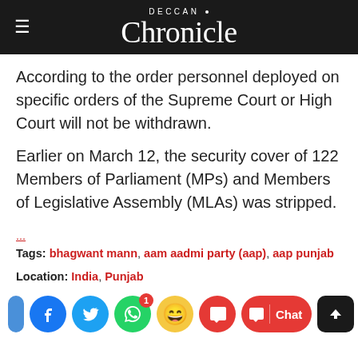Deccan Chronicle
According to the order personnel deployed on specific orders of the Supreme Court or High Court will not be withdrawn.
Earlier on March 12, the security cover of 122 Members of Parliament (MPs) and Members of Legislative Assembly (MLAs) was stripped.
...
Tags: bhagwant mann, aam aadmi party (aap), aap punjab
Location: India, Punjab